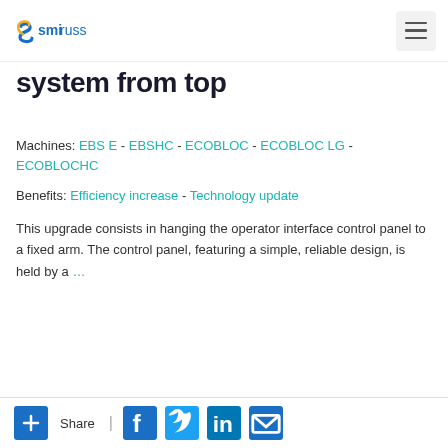smirussia [logo]
system from top
Machines: EBS E - EBSHC - ECOBLOC - ECOBLOC LG - ECOBLOCHC
Benefits: Efficiency increase - Technology update
This upgrade consists in hanging the operator interface control panel to a fixed arm. The control panel, featuring a simple, reliable design, is held by a ...
Read
+ Share | Facebook Twitter LinkedIn Email